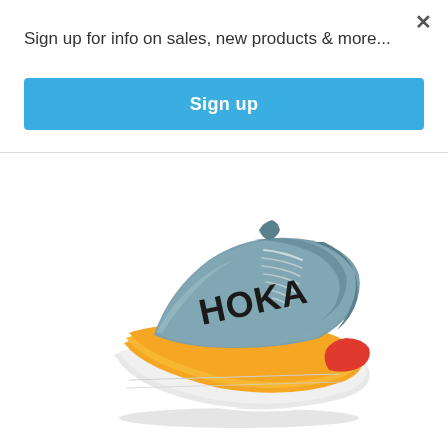Sign up for info on sales, new products & more...
Sign up
[Figure (photo): HOKA running shoe in blue-grey with yellow midsole, white chunky sole stack, red heel accent, and black HOKA logo on the side. The shoe is shown at a 3/4 angle.]